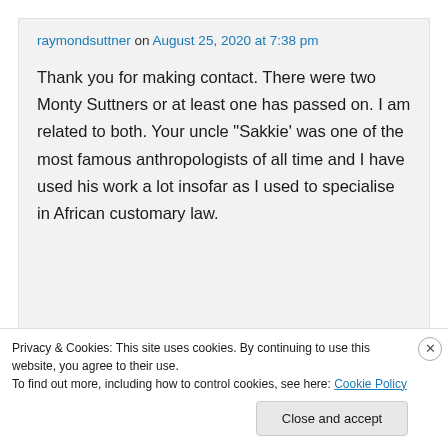raymondsuttner on August 25, 2020 at 7:38 pm
Thank you for making contact. There were two Monty Suttners or at least one has passed on. I am related to both. Your uncle “Sakkie’ was one of the most famous anthropologists of all time and I have used his work a lot insofar as I used to specialise in African customary law.
Privacy & Cookies: This site uses cookies. By continuing to use this website, you agree to their use.
To find out more, including how to control cookies, see here: Cookie Policy
Close and accept